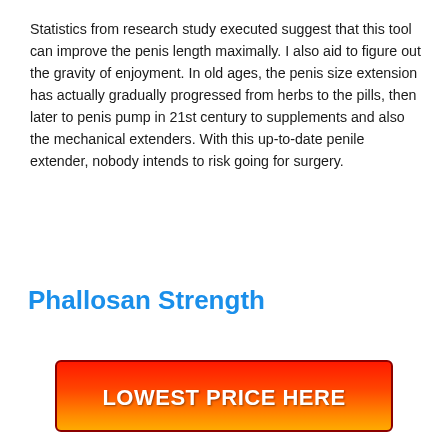Statistics from research study executed suggest that this tool can improve the penis length maximally. I also aid to figure out the gravity of enjoyment. In old ages, the penis size extension has actually gradually progressed from herbs to the pills, then later to penis pump in 21st century to supplements and also the mechanical extenders. With this up-to-date penile extender, nobody intends to risk going for surgery.
Phallosan Strength
[Figure (other): Red-to-orange gradient button with white bold text reading LOWEST PRICE HERE]